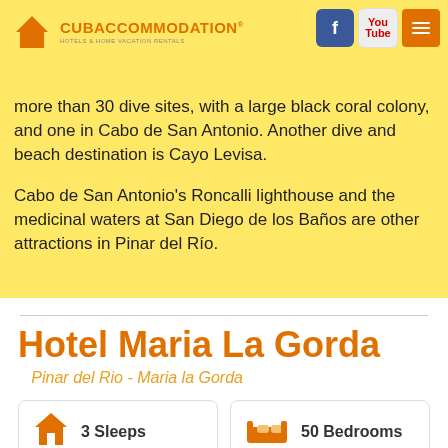CubAccommodation Hotels & Home Vacation Rentals
province. There are two natural reserves in the Guanahacabibes peninsula with Diving Centers; Maria la Gorda with more than 30 dive sites, with a large black coral colony, and one in Cabo de San Antonio. Another dive and beach destination is Cayo Levisa.
Cabo de San Antonio's Roncalli lighthouse and the medicinal waters at San Diego de los Baños are other attractions in Pinar del Río.
Hotel Maria La Gorda
Pinar del Rio - Maria la Gorda
3 Sleeps
50 Bedrooms